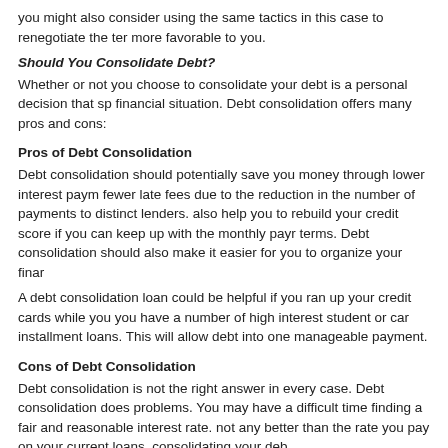you might also consider using the same tactics in this case to renegotiate the terms more favorable to you.
Should You Consolidate Debt?
Whether or not you choose to consolidate your debt is a personal decision that sp financial situation. Debt consolidation offers many pros and cons:
Pros of Debt Consolidation
Debt consolidation should potentially save you money through lower interest paym fewer late fees due to the reduction in the number of payments to distinct lenders. also help you to rebuild your credit score if you can keep up with the monthly payr terms. Debt consolidation should also make it easier for you to organize your finar
A debt consolidation loan could be helpful if you ran up your credit cards while you you have a number of high interest student or car installment loans. This will allow debt into one manageable payment.
Cons of Debt Consolidation
Debt consolidation is not the right answer in every case. Debt consolidation does problems. You may have a difficult time finding a fair and reasonable interest rate. not any better than the rate you pay on your current loans, consolidating your deb
It can also take longer to pay debts off. When you consolidate debt, you still end u money. The main difference is usually the length of the term. This could leave you term is really long. The best way to combat additional interest payments is to pay your monthly payments, but doing this may be beyond your means.